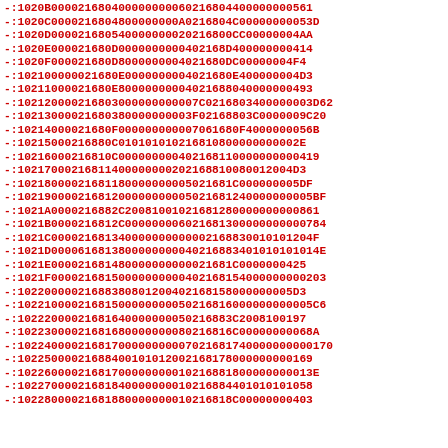-:1020B000021680400000000060216804400000000561
-:1020C000021680480000000A0216804C00000000053D
-:1020D000021680540000000020216800CC00000004AA
-:1020E000021680D000000000040216800D400000000414
-:1020F000021680D8000000004021680DC00000004F4
-:10210000021680E000000000040216800E400000004D3
-:10211000021680E8000000004021688040000000493
-:10212000021680300000000007C021680340000003D62
-:10213000021680380000000003F0216803C0000009C20
-:10214000021680F000000000070616880F4000000056B
-:10215000216880C0101010102168108000000002E
-:10216000216810C00000000402168110000000000419
-:10217000216811400000000202168810080012004D3
-:10218000216811800000000502168811C000000005DF
-:10219000216812000000000050216881240000000005BF
-:1021A0000216882C200810010216881280000000008861
-:1021B0000216812C0000000060216881300000000000784
-:1021C0000216813400000000000021688300101012040F
-:1021D00006168138000000000402168883401010100414E
-:1021E0000216814800000000000216814C0000000425
-:1021F0000216815000000000004021681540000000000203
-:10220000021688380801200402168158000000005D3
-:10221000021681500000000050216816000000000005C6
-:10222000021681640000000050216883C2008100197
-:10223000021681680000000008021681600000000068A
-:10224000021681700000000007021681740000000000170
-:10225000021688400101010200216881780000000000169
-:10226000021681700000000010216881800000000013E
-:10227000021681840000000010216888440101010158
-:10228000021681880000000010216881800000000403